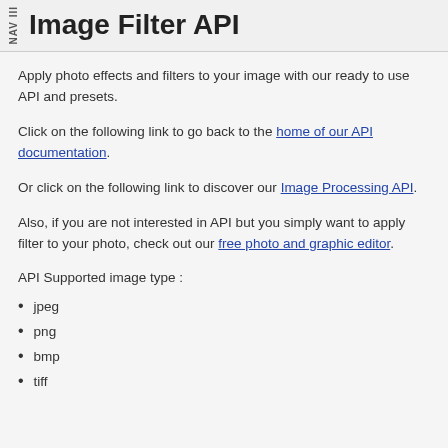NAV III  Image Filter API
Apply photo effects and filters to your image with our ready to use API and presets.
Click on the following link to go back to the home of our API documentation.
Or click on the following link to discover our Image Processing API.
Also, if you are not interested in API but you simply want to apply filter to your photo, check out our free photo and graphic editor.
API Supported image type :
jpeg
png
bmp
tiff